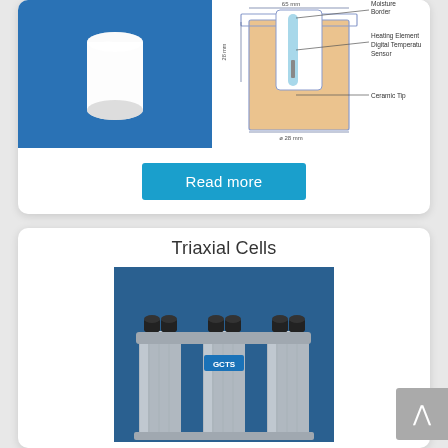[Figure (photo): Top section showing two images: left image is a white ceramic cup/sensor on blue background; right image is a technical schematic diagram of a ceramic tip sensor showing moisture border, heating element & digital temperature sensor, ceramic tip, with dimensions (65mm, 28mm, ø 28mm)]
Read more
Triaxial Cells
[Figure (photo): Photo of GCTS Triaxial Cells - stainless steel cylindrical cell apparatus with multiple black port connectors on top, GCTS logo visible, on blue background]